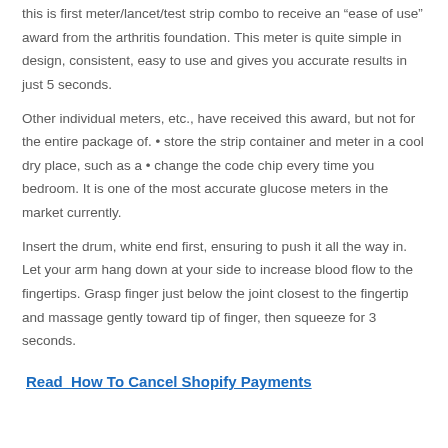this is first meter/lancet/test strip combo to receive an “ease of use” award from the arthritis foundation. This meter is quite simple in design, consistent, easy to use and gives you accurate results in just 5 seconds.
Other individual meters, etc., have received this award, but not for the entire package of. • store the strip container and meter in a cool dry place, such as a • change the code chip every time you bedroom. It is one of the most accurate glucose meters in the market currently.
Insert the drum, white end first, ensuring to push it all the way in. Let your arm hang down at your side to increase blood flow to the fingertips. Grasp finger just below the joint closest to the fingertip and massage gently toward tip of finger, then squeeze for 3 seconds.
Read  How To Cancel Shopify Payments